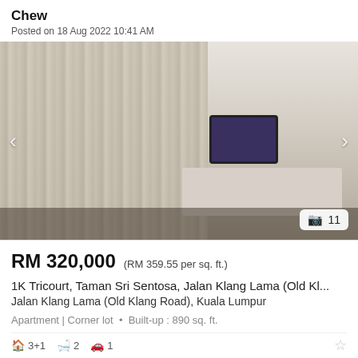Chew
Posted on 18 Aug 2022 10:41 AM
[Figure (photo): Interior photo of a living room with beige curtains, a TV on a white media console, potted plants, and decorative items. Navigation arrows visible on left and right. Photo count badge showing camera icon and 11.]
RM 320,000 (RM 359.55 per sq. ft.)
1K Tricourt, Taman Sri Sentosa, Jalan Klang Lama (Old Kl...
Jalan Klang Lama (Old Klang Road), Kuala Lumpur
Apartment | Corner lot  •  Built-up : 890 sq. ft.
3+1  2  1